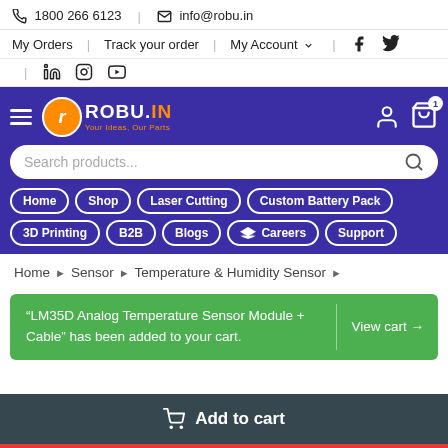📞 1800 266 6123  |  ✉ info@robu.in
My Orders  |  Track your order  |  My Account ▾  |  Facebook  |  Twitter
LinkedIn  |  Instagram  |  YouTube
[Figure (logo): Robu.in logo with orange circle containing 'r', text ROBU.IN in white, tagline Your Ideas, Our Parts in orange, on purple navigation bar with hamburger menu, search bar, user icon, and cart icon with badge '1']
Home  Shop  Laser Cutting  Custom Battery Pack  3D Printing  B2B  Blogs  🎓 Careers  Support
Home > Sensor > Temperature & Humidity Sensor >
"LM35D Analog Temperature Sensor Module + Cable" has been added to your cart.  View cart →
🛒  Add to cart